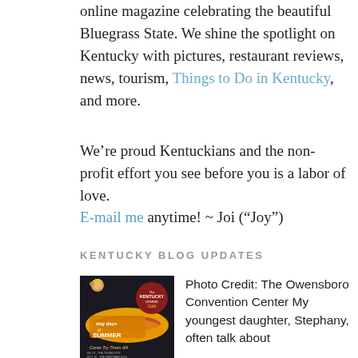online magazine celebrating the beautiful Bluegrass State. We shine the spotlight on Kentucky with pictures, restaurant reviews, news, tourism, Things to Do in Kentucky, and more.
We’re proud Kentuckians and the non-profit effort you see before you is a labor of love.
E-mail me anytime! ~ Joi (“Joy”)
KENTUCKY BLOG UPDATES
[Figure (illustration): Promotional poster for Kentucky Legend Cafe 'Dog Days of Summer' event showing a hot dog and a dog, with text 'Come Try Them All!' and event dates July 8 The Texas Dog, July 15 The Pastrami Dog]
Photo Credit: The Owensboro Convention Center My youngest daughter, Stephany, often talk about